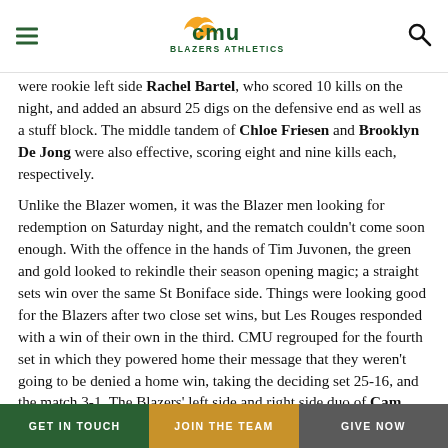CMU Blazers Athletics
were rookie left side Rachel Bartel, who scored 10 kills on the night, and added an absurd 25 digs on the defensive end as well as a stuff block.  The middle tandem of Chloe Friesen and Brooklyn De Jong were also effective, scoring eight and nine kills each, respectively.

Unlike the Blazer women, it was the Blazer men looking for redemption on Saturday night, and the rematch couldn't come soon enough.  With the offence in the hands of Tim Juvonen, the green and gold looked to rekindle their season opening magic; a straight sets win over the same St Boniface side.  Things were looking good for the Blazers after two close set wins, but Les Rouges responded with a win of their own in the third.  CMU regrouped for the fourth set in which they powered home their message that they weren't going to be denied a home win, taking the deciding set 25-16, and the match 3-1.  The Blazers' left side and right side duo of Cam
GET IN TOUCH   JOIN THE TEAM   GIVE NOW